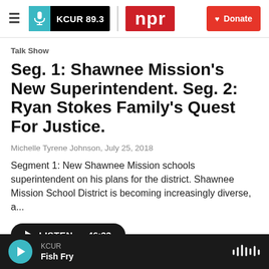KCUR 89.3 | npr | Donate
Talk Show
Seg. 1: Shawnee Mission's New Superintendent. Seg. 2: Ryan Stokes Family's Quest For Justice.
Michelle Tyrene Johnson, July 25, 2018
Segment 1: New Shawnee Mission schools superintendent on his plans for the district. Shawnee Mission School District is becoming increasingly diverse, a...
[Figure (other): Listen button with play icon and duration 46:33]
KCUR | Fish Fry